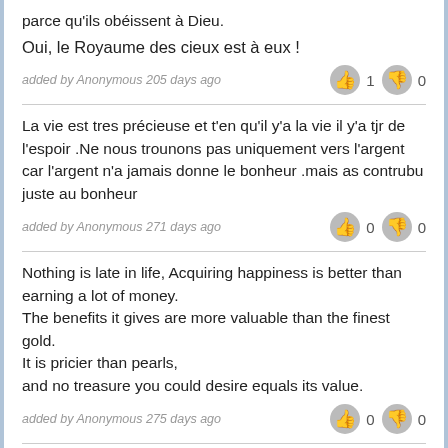parce qu'ils obéissent à Dieu.
Oui, le Royaume des cieux est à eux !
added by Anonymous 205 days ago
La vie est tres précieuse et t'en qu'il y'a la vie il y'a tjr de l'espoir .Ne nous trounons pas uniquement vers l'argent car l'argent n'a jamais donne le bonheur .mais as contrubu juste au bonheur
added by Anonymous 271 days ago
Nothing is late in life, Acquiring happiness is better than earning a lot of money.
The benefits it gives are more valuable than the finest gold.
It is pricier than pearls,
and no treasure you could desire equals its value.
added by Anonymous 275 days ago
La chose la mieux cherchée c est le bonheur.et ce n est